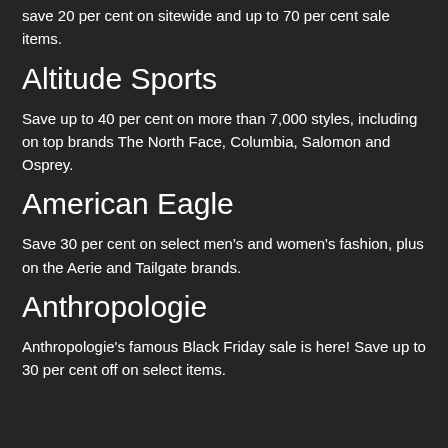save 20 per cent on sitewide and up to 70 per cent sale items.
Altitude Sports
Save up to 40 per cent on more than 7,000 styles, including on top brands The North Face, Columbia, Salomon and Osprey.
American Eagle
Save 30 per cent on select men's and women's fashion, plus on the Aerie and Tailgate brands.
Anthropologie
Anthropologie's famous Black Friday sale is here! Save up to 30 per cent off on select items.